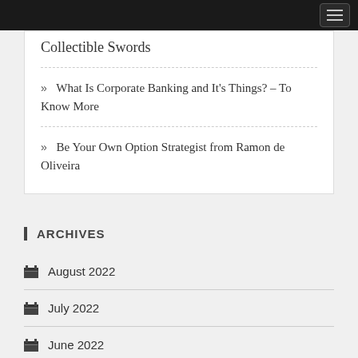Collectible Swords
» What Is Corporate Banking and It's Things? – To Know More
» Be Your Own Option Strategist from Ramon de Oliveira
ARCHIVES
August 2022
July 2022
June 2022